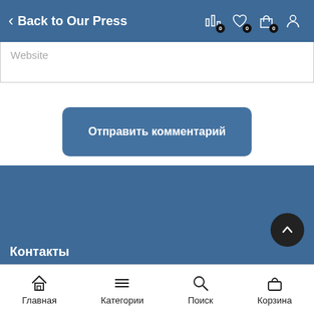Back to Our Press
Website
Отправить комментарий
Контакты
Главная   Категории   Поиск   Корзина